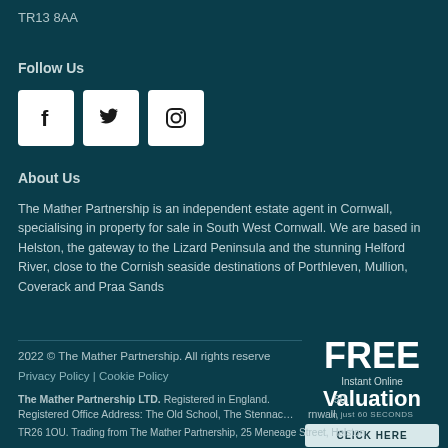TR13 8AA
Follow Us
[Figure (other): Social media icons: Facebook, Twitter, Instagram]
About Us
The Mather Partnership is an independent estate agent in Cornwall, specialising in property for sale in South West Cornwall. We are based in Helston, the gateway to the Lizard Peninsula and the stunning Helford River, close to the Cornish seaside destinations of Porthleven, Mullion, Coverack and Praa Sands
2022 © The Mather Partnership. All rights reserve
Privacy Policy | Cookie Policy
[Figure (other): FREE Instant Online Valuation in just 60 SECONDS - CLICK HERE button]
The Mather Partnership LTD. Registered in England. Registered Office Address: The Old School, The Stennac, Cornwall, TR26 1OU. Trading from The Mather Partnership, 25 Meneage Street, Helston